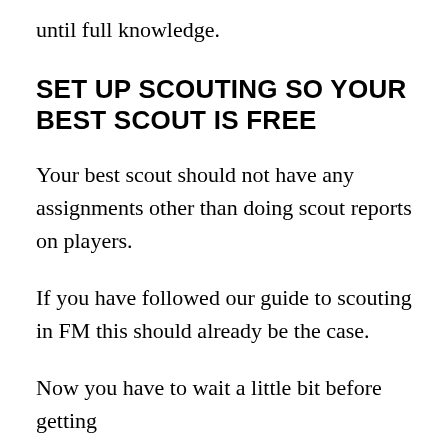until full knowledge.
SET UP SCOUTING SO YOUR BEST SCOUT IS FREE
Your best scout should not have any assignments other than doing scout reports on players.
If you have followed our guide to scouting in FM this should already be the case.
Now you have to wait a little bit before getting